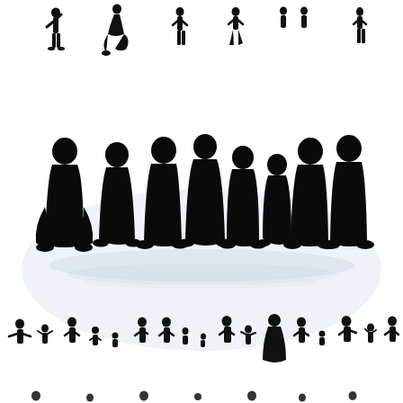[Figure (illustration): Vector silhouette illustration of people in three rows. Top row: individual human silhouettes in various action poses (standing, kneeling, walking, spreading arms). Middle row: large group silhouette of approximately 9-10 adults walking together as a crowd, with soft reflections beneath them on a light blue-grey background. Bottom row: smaller silhouettes of adults and children in various poses (standing, walking, raising arms, holding hands).]